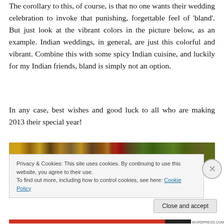The corollary to this, of course, is that no one wants their wedding celebration to invoke that punishing, forgettable feel of 'bland'. But just look at the vibrant colors in the picture below, as an example. Indian weddings, in general, are just this colorful and vibrant. Combine this with some spicy Indian cuisine, and luckily for my Indian friends, bland is simply not an option.
In any case, best wishes and good luck to all who are making 2013 their special year!
[Figure (photo): Colorful Indian wedding decoration strip showing gold, red, and green patterned textiles and ornaments.]
Privacy & Cookies: This site uses cookies. By continuing to use this website, you agree to their use.
To find out more, including how to control cookies, see here: Cookie Policy